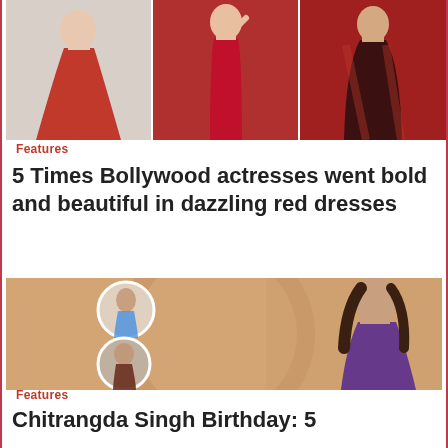[Figure (photo): Three Bollywood actresses wearing red dresses — left: red gown, center: red bodycon dress, right: red outfit against red background]
Features
5 Times Bollywood actresses went bold and beautiful in dazzling red dresses
[Figure (photo): Chitrangda Singh birthday collage — large photo of her in purple dress, two circular inset photos on the left showing her in different looks, tan/beige background]
Features
Chitrangda Singh Birthday: 5